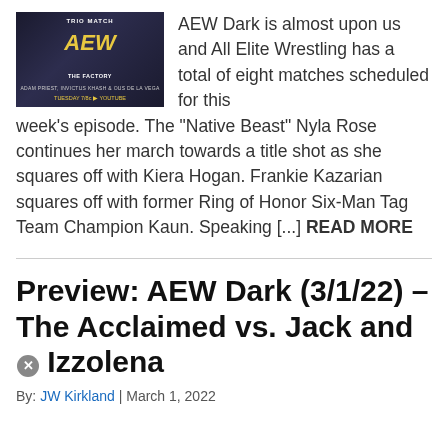[Figure (photo): Promotional image for AEW Dark trio match featuring wrestlers with text 'TRIO MATCH', 'THE FACTORY', 'ADAM PRIEST, INVICTUS KHASH & OUS DE LA VEGA' on dark background with gold AEW logo]
AEW Dark is almost upon us and All Elite Wrestling has a total of eight matches scheduled for this week's episode. The “Native Beast” Nyla Rose continues her march towards a title shot as she squares off with Kiera Hogan. Frankie Kazarian squares off with former Ring of Honor Six-Man Tag Team Champion Kaun. Speaking [...] READ MORE
Preview: AEW Dark (3/1/22) – The Acclaimed vs. Jack and Izzolena
By: JW Kirkland | March 1, 2022